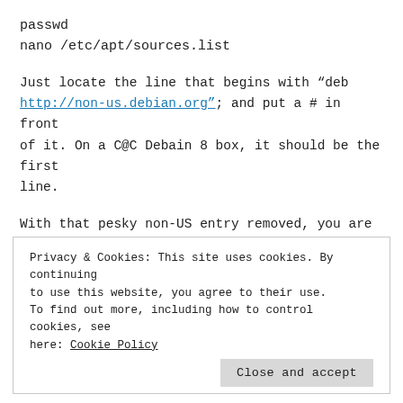passwd
nano /etc/apt/sources.list
Just locate the line that begins with “deb http://non-us.debian.org&#8221; and put a # in front of it. On a C@C Debain 8 box, it should be the first line.
With that pesky non-US entry removed, you are clear to update your packages:
apt-get update
Privacy & Cookies: This site uses cookies. By continuing to use this website, you agree to their use.
To find out more, including how to control cookies, see here: Cookie Policy
Close and accept